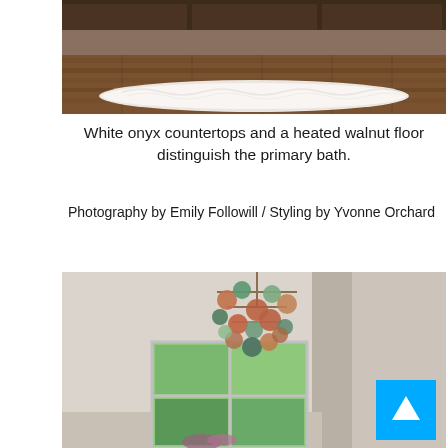[Figure (photo): Interior photo of a bathroom showing a fluffy white runner rug on a dark walnut heated floor, with dark wood cabinetry in the background.]
White onyx countertops and a heated walnut floor distinguish the primary bath.
Photography by Emily Followill / Styling by Yvonne Orchard
[Figure (photo): Interior photo of a room with a colorful circular disc chandelier hanging from the ceiling, a large window showing greenery outside, and a partial view of a room divider on the right.]